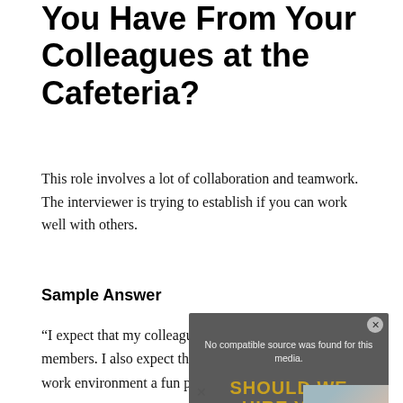You Have From Your Colleagues at the Cafeteria?
This role involves a lot of collaboration and teamwork. The interviewer is trying to establish if you can work well with others.
Sample Answer
“I expect that my colleagues are friendly and great team members. I also expect that they are kind and make the work environment a fun place to be at”
[Figure (screenshot): Video overlay with text: No compatible source was found for this media. SHOULD WE HIRE YOU 5 Best Answers. Close button top right.]